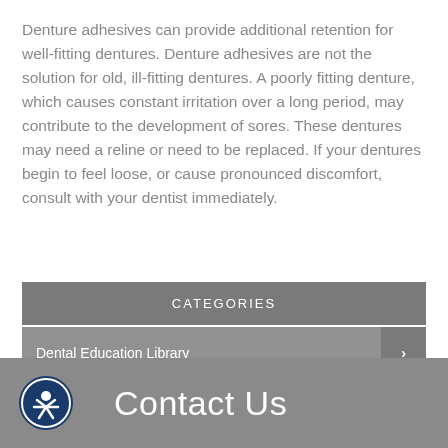Denture adhesives can provide additional retention for well-fitting dentures. Denture adhesives are not the solution for old, ill-fitting dentures. A poorly fitting denture, which causes constant irritation over a long period, may contribute to the development of sores. These dentures may need a reline or need to be replaced. If your dentures begin to feel loose, or cause pronounced discomfort, consult with your dentist immediately.
| CATEGORIES |  |
| --- | --- |
| Dental Education Library | › |
Contact Us